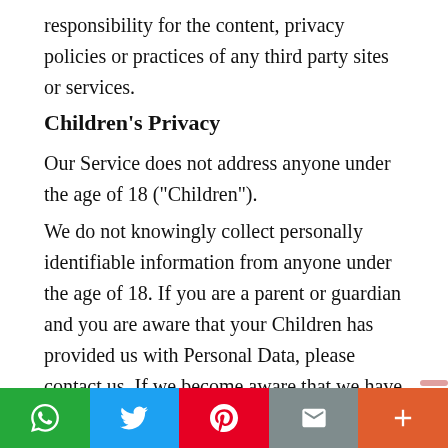responsibility for the content, privacy policies or practices of any third party sites or services.
Children's Privacy
Our Service does not address anyone under the age of 18 ("Children").
We do not knowingly collect personally identifiable information from anyone under the age of 18. If you are a parent or guardian and you are aware that your Children has provided us with Personal Data, please contact us. If we become aware that we have collected Personal Data from children without verification of parental consent, we take steps to